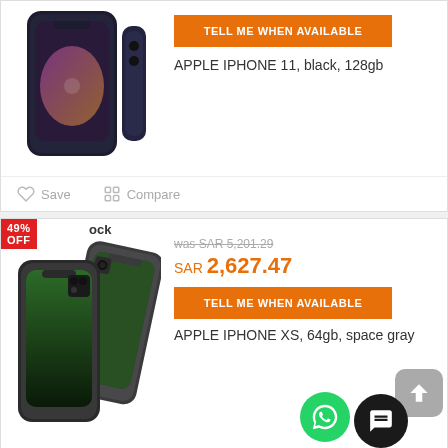[Figure (screenshot): Product card for Apple iPhone 11 black 128gb with Tell Me When Available orange button and product image showing front and back of black iPhone 11]
APPLE IPHONE 11, black, 128gb
Save   Compare
[Figure (screenshot): Product card for Apple iPhone XS 64gb space gray with 49% OFF badge, original price was SAR 5,201.29, sale price SAR 2,627.47, Tell Me When Available button, and product images showing front and back of space gray iPhone XS]
was SAR 5,201.29
SAR 2,627.47
TELL ME WHEN AVAILABLE
APPLE IPHONE XS, 64gb, space gray
Save   Compare
[Figure (screenshot): Partial bottom product card showing 49% OFF badge and was SAR 5,201.29 original price, partially cut off]